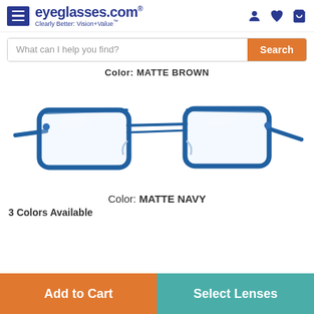eyeglasses.com® Clearly Better: Vision+Value™
What can I help you find?
Color: MATTE BROWN
[Figure (photo): Blue metal rectangular eyeglasses frames shown at an angle, matte navy color, with nose pads and slim temples.]
Color: MATTE NAVY
3 Colors Available
Add to Cart
Select Lenses